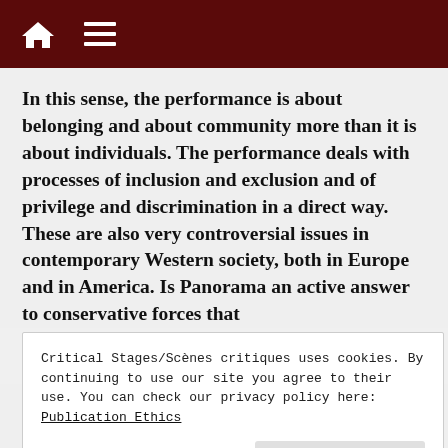In this sense, the performance is about belonging and about community more than it is about individuals. The performance deals with processes of inclusion and exclusion and of privilege and discrimination in a direct way. These are also very controversial issues in contemporary Western society, both in Europe and in America. Is Panorama an active answer to conservative forces that
Critical Stages/Scènes critiques uses cookies. By continuing to use our site you agree to their use. You can check our privacy policy here: Publication Ethics
travel across the United States before the show. We